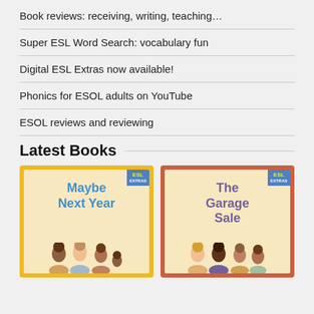Book reviews: receiving, writing, teaching…
Super ESL Word Search: vocabulary fun
Digital ESL Extras now available!
Phonics for ESOL adults on YouTube
ESOL reviews and reviewing
Latest Books
[Figure (illustration): Book cover: 'Maybe Next Year' — yellow background, ESL Extras badge, blue title text, illustrated people at bottom]
[Figure (illustration): Book cover: 'The Garage Sale' — salmon/orange background, ESL Extras badge, purple title text, illustrated people at bottom]